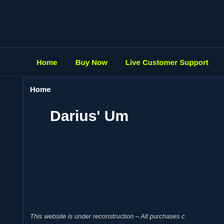Home   Buy Now   Live Customer Support
Home
Darius' Um
This website is under reconstruction – All purchases c